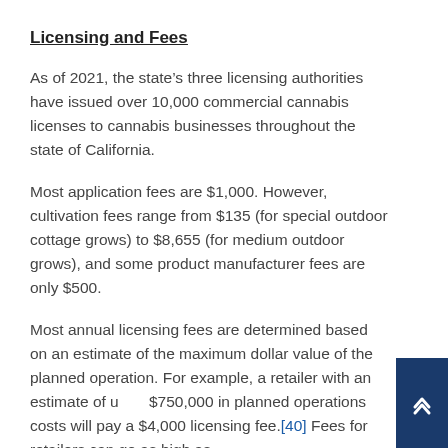Licensing and Fees
As of 2021, the state's three licensing authorities have issued over 10,000 commercial cannabis licenses to cannabis businesses throughout the state of California.
Most application fees are $1,000. However, cultivation fees range from $135 (for special outdoor cottage grows) to $8,655 (for medium outdoor grows), and some product manufacturer fees are only $500.
Most annual licensing fees are determined based on an estimate of the maximum dollar value of the planned operation. For example, a retailer with an estimate of up to $750,000 in planned operations costs will pay a $4,000 licensing fee.[40] Fees for retailers can go as high as